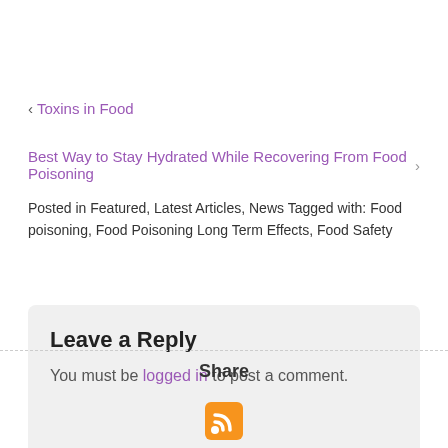‹ Toxins in Food
Best Way to Stay Hydrated While Recovering From Food Poisoning ›
Posted in Featured, Latest Articles, News Tagged with: Food poisoning, Food Poisoning Long Term Effects, Food Safety
Leave a Reply
You must be logged in to post a comment.
Share
[Figure (logo): RSS feed orange icon]